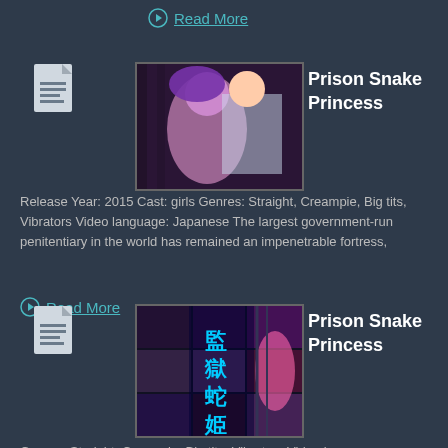Read More
Prison Snake Princess
[Figure (illustration): Animated 3D characters, purple-haired and another character]
Release Year: 2015 Cast: girls Genres: Straight, Creampie, Big tits, Vibrators Video language: Japanese The largest government-run penitentiary in the world has remained an impenetrable fortress,
Read More
Prison Snake Princess
[Figure (illustration): Collage of scenes with Japanese text characters]
Genres: Straight, Creampie, Big tits, Vibrators Video language: